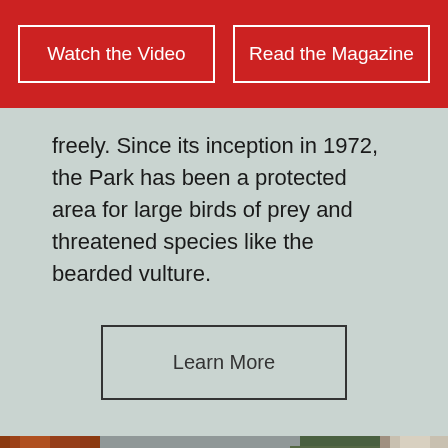Watch the Video | Read the Magazine
freely. Since its inception in 1972, the Park has been a protected area for large birds of prey and threatened species like the bearded vulture.
Learn More
[Figure (photo): Close-up photograph of a rocky cliff face or wall covered with autumn-colored reddish-brown vegetation on the left, green moss and lichen in the center-right, with a light-colored tree trunk visible on the far right.]